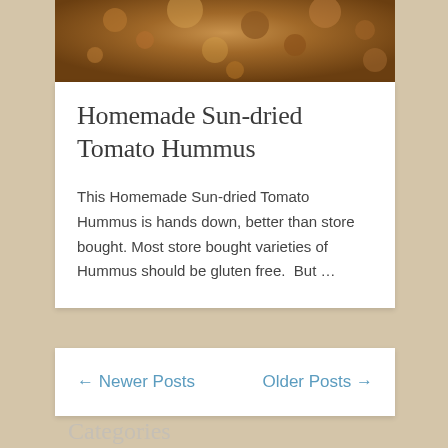[Figure (photo): Close-up food photo of homemade sun-dried tomato hummus, showing textured brown/golden surface]
Homemade Sun-dried Tomato Hummus
This Homemade Sun-dried Tomato Hummus is hands down, better than store bought. Most store bought varieties of Hummus should be gluten free.  But …
← Newer Posts    Older Posts →
Categories
Recipes (86)